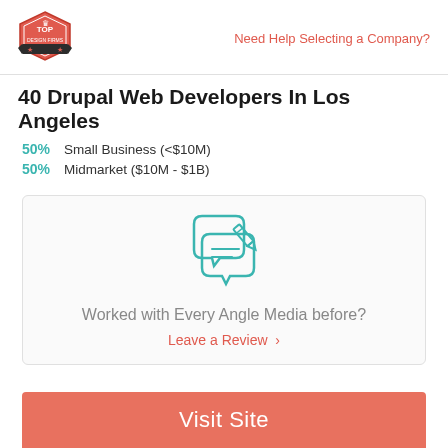Need Help Selecting a Company?
40 Drupal Web Developers In Los Angeles
50% Small Business (<$10M)
50% Midmarket ($10M - $1B)
[Figure (illustration): Two speech bubbles with a pencil/writing icon in teal color]
Worked with Every Angle Media before?
Leave a Review  >
Visit Site